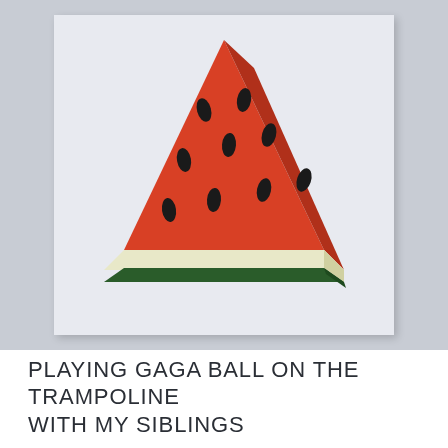[Figure (illustration): A 3D sculptural or painted wooden object shaped like a triangular wedge slice of watermelon. The top face is red-orange with several black oval seeds. The right side face is a darker red/brown showing the side of the slice. The bottom has a cream/white rind layer and a dark green outer rind. The object sits on a white card/paper background, set against a light gray wall.]
PLAYING GAGA BALL ON THE TRAMPOLINE WITH MY SIBLINGS